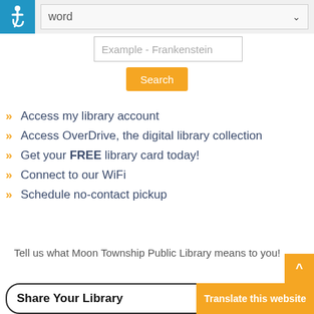[Figure (screenshot): Accessibility icon (wheelchair symbol) in blue square with keyword search dropdown showing 'word' text and dropdown arrow]
[Figure (screenshot): Search input box with placeholder text 'Example - Frankenstein']
[Figure (screenshot): Orange Search button]
Access my library account
Access OverDrive, the digital library collection
Get your FREE library card today!
Connect to our WiFi
Schedule no-contact pickup
Tell us what Moon Township Public Library means to you!
Share Your Library
Translate this website